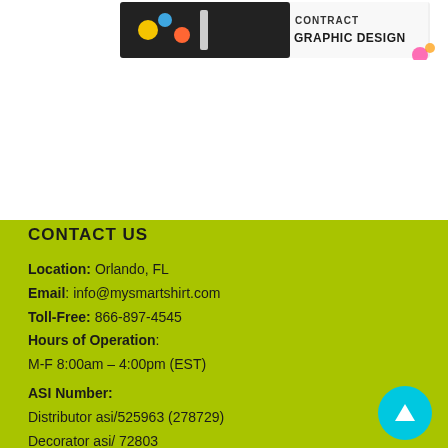[Figure (illustration): Graphic design advertisement banner showing cartoon elements with text 'CONTRACT GRAPHIC DESIGN' in colorful style]
CONTACT US
Location: Orlando, FL
Email: info@mysmartshirt.com
Toll-Free: 866-897-4545
Hours of Operation:
M-F 8:00am – 4:00pm (EST)
ASI Number:
Distributor asi/525963 (278729)
Decorator asi/ 72803